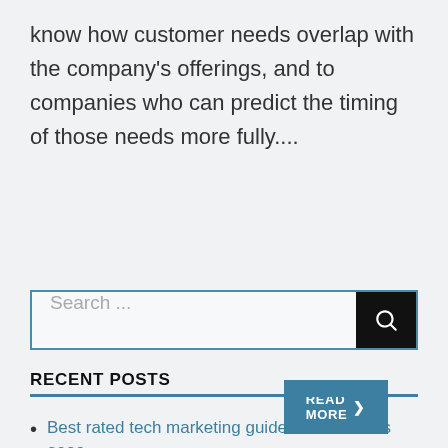know how customer needs overlap with the company’s offerings, and to companies who can predict the timing of those needs more fully....
READ MORE ›
Search ...
RECENT POSTS
Best rated tech marketing guides and advices 2022